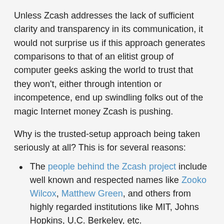Unless Zcash addresses the lack of sufficient clarity and transparency in its communication, it would not surprise us if this approach generates comparisons to that of an elitist group of computer geeks asking the world to trust that they won't, either through intention or incompetence, end up swindling folks out of the magic Internet money Zcash is pushing.
Why is the trusted-setup approach being taken seriously at all? This is for several reasons:
The people behind the Zcash project include well known and respected names like Zooko Wilcox, Matthew Green, and others from highly regarded institutions like MIT, Johns Hopkins, U.C. Berkeley, etc.
The Internet really needs the properties that